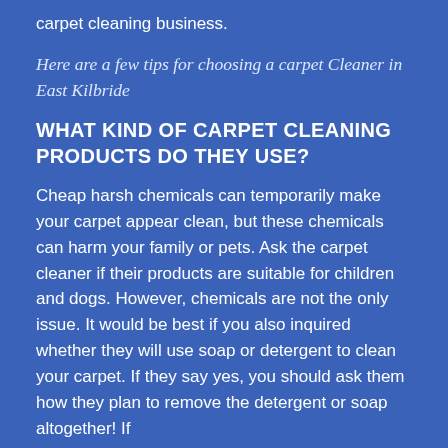carpet cleaning business.
Here are a few tips for choosing a carpet Cleaner in East Kilbride
WHAT KIND OF CARPET CLEANING PRODUCTS DO THEY USE?
Cheap harsh chemicals can temporarily make your carpet appear clean, but these chemicals can harm your family or pets. Ask the carpet cleaner if their products are suitable for children and dogs. However, chemicals are not the only issue. It would be best if you also inquired whether they will use soap or detergent to clean your carpet. If they say yes, you should ask them how they plan to remove the detergent or soap altogether! If